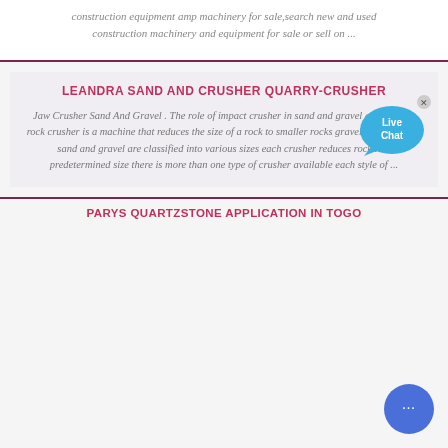construction equipment amp machinery for sale,search new and used construction machinery and equipment for sale or sell on ...
LEANDRA SAND AND CRUSHER QUARRY-CRUSHER
Jaw Crusher Sand And Gravel . The role of impact crusher in sand and gravel aggregate a rock crusher is a machine that reduces the size of a rock to smaller rocks gravel or sand rocks sand and gravel are classified into various sizes each crusher reduces rock to a predetermined size there is more than one type of crusher available each style of ...
PARYS QUARTZSTONE APPLICATION IN TOGO